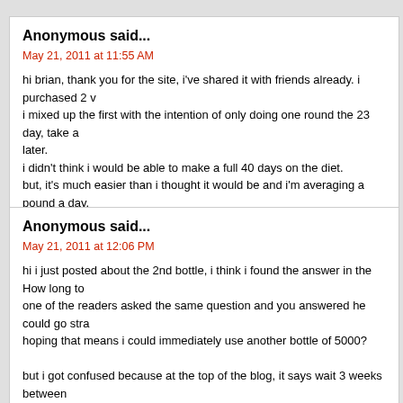Anonymous said...
May 21, 2011 at 11:55 AM
hi brian, thank you for the site, i've shared it with friends already. i purchased 2 v i mixed up the first with the intention of only doing one round the 23 day, take a later.
i didn't think i would be able to make a full 40 days on the diet.
but, it's much easier than i thought it would be and i'm averaging a pound a day.
can i continue with the 2nd bottle after the 23rd day or should i take a break?
thanks again!
Anonymous said...
May 21, 2011 at 12:06 PM
hi i just posted about the 2nd bottle, i think i found the answer in the How long to one of the readers asked the same question and you answered he could go stra hoping that means i could immediately use another bottle of 5000?

but i got confused because at the top of the blog, it says wait 3 weeks between could develop an immunity to the hormone.

when you say to wait 3 weeks between round 1 & 2, is that meaning that a roun always the longer the point use?